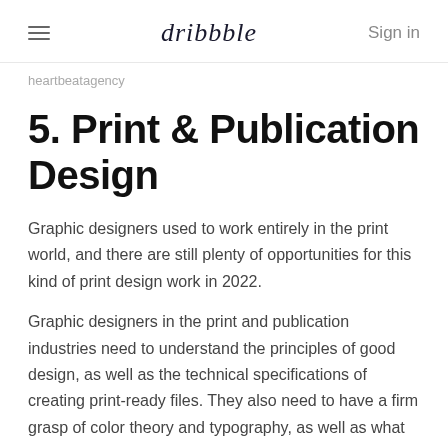dribbble | Sign in
heartbeatagency
5. Print & Publication Design
Graphic designers used to work entirely in the print world, and there are still plenty of opportunities for this kind of print design work in 2022.
Graphic designers in the print and publication industries need to understand the principles of good design, as well as the technical specifications of creating print-ready files. They also need to have a firm grasp of color theory and typography, as well as what